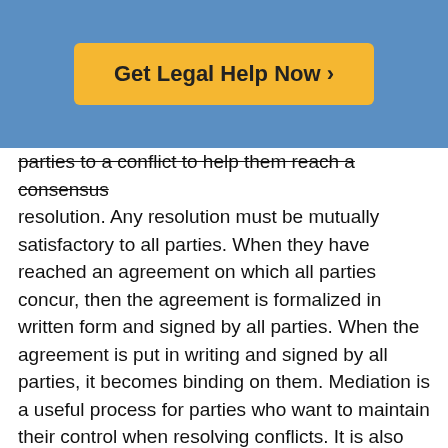[Figure (other): Yellow call-to-action button on blue background reading 'Get Legal Help Now ›']
parties to a conflict to help them reach a consensus resolution. Any resolution must be mutually satisfactory to all parties. When they have reached an agreement on which all parties concur, then the agreement is formalized in written form and signed by all parties. When the agreement is put in writing and signed by all parties, it becomes binding on them. Mediation is a useful process for parties who want to maintain their control when resolving conflicts. It is also less expensive and likely to reach a conclusion more quickly than litigation.
If negotiations and mediation have not produced a mutually satisfactory result, arbitration is another option. In an arbitration, a neutral arbitrator is selected, usually by the parties. Sometimes a panel of arbitrators can be used instead of one person. This arbitrator is